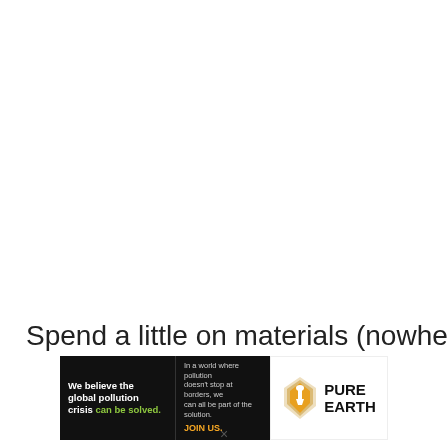Spend a little on materials (nowhere near as
[Figure (illustration): Pure Earth advertisement banner. Black background left section with white bold text reading 'We believe the global pollution crisis can be solved.' with 'can be solved.' in green. Center section with small white/grey text 'In a world where pollution doesn't stop at borders, we can all be part of the solution.' and 'JOIN US.' in orange/yellow. Right section white background with Pure Earth logo (diamond shape with shovel icon in yellow/brown) and bold text 'PURE EARTH'.]
×